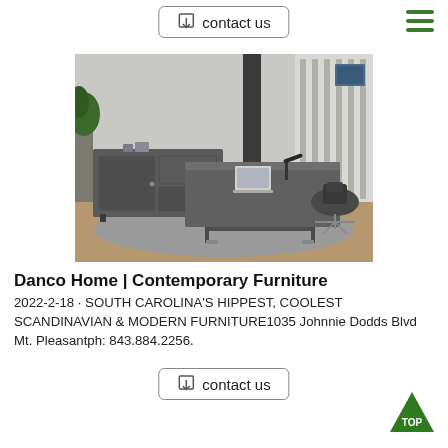contact us
[Figure (photo): An L-shaped executive desk set in dark gray/charcoal finish with a credenza/side cabinet, laptop on desk, desk lamp, and a black office chair on a gray area rug in a modern office setting.]
Danco Home | Contemporary Furniture
2022-2-18 · SOUTH CAROLINA'S HIPPEST, COOLEST SCANDINAVIAN & MODERN FURNITURE1035 Johnnie Dodds Blvd Mt. Pleasantph: 843.884.2256.
contact us